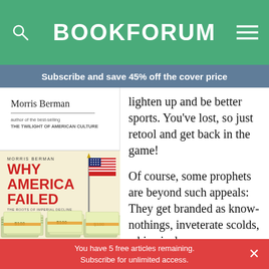BOOKFORUM
Subscribe and save 45% off the cover price
[Figure (photo): Book cover top portion showing author name Morris Berman, with tagline 'author of the best-selling THE TWILIGHT OF AMERICAN CULTURE']
[Figure (photo): Book cover for 'Why America Failed' by Morris Berman, showing an American flag planted in stacks of dollar bills on a beige/cream background. Title in red letters.]
lighten up and be better sports. You've lost, so just retool and get back in the game!
Of course, some prophets are beyond such appeals: They get branded as know-nothings, inveterate scolds, whimsical
You have 5 free articles remaining. Subscribe for unlimited access.